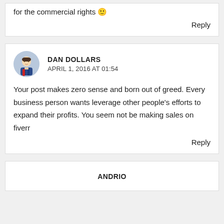for the commercial rights 🙂
Reply
DAN DOLLARS
APRIL 1, 2016 AT 01:54
Your post makes zero sense and born out of greed. Every business person wants leverage other people's efforts to expand their profits. You seem not be making sales on fiverr
Reply
ANDRIO